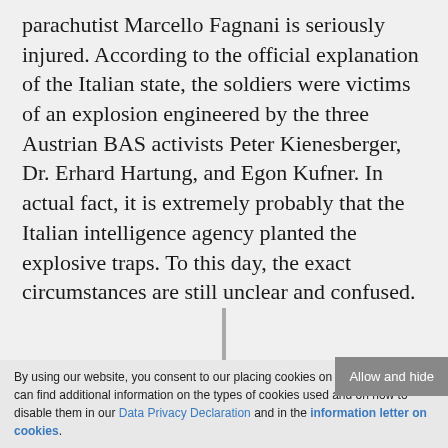parachutist Marcello Fagnani is seriously injured. According to the official explanation of the Italian state, the soldiers were victims of an explosion engineered by the three Austrian BAS activists Peter Kienesberger, Dr. Erhard Hartung, and Egon Kufner. In actual fact, it is extremely probably that the Italian intelligence agency planted the explosive traps. To this day, the exact circumstances are still unclear and confused.
Cesare Costantini
By using our website, you consent to our placing cookies on your device. You can find additional information on the types of cookies used and on how to disable them in our Data Privacy Declaration and in the information letter on cookies.